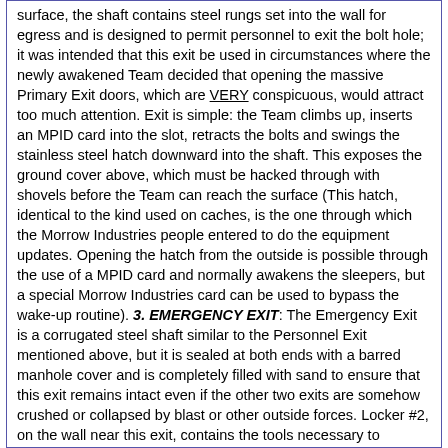surface, the shaft contains steel rungs set into the wall for egress and is designed to permit personnel to exit the bolt hole; it was intended that this exit be used in circumstances where the newly awakened Team decided that opening the massive Primary Exit doors, which are VERY conspicuous, would attract too much attention. Exit is simple: the Team climbs up, inserts an MPID card into the slot, retracts the bolts and swings the stainless steel hatch downward into the shaft. This exposes the ground cover above, which must be hacked through with shovels before the Team can reach the surface (This hatch, identical to the kind used on caches, is the one through which the Morrow Industries people entered to do the equipment updates. Opening the hatch from the outside is possible through the use of a MPID card and normally awakens the sleepers, but a special Morrow Industries card can be used to bypass the wake-up routine). 3. EMERGENCY EXIT: The Emergency Exit is a corrugated steel shaft similar to the Personnel Exit mentioned above, but it is sealed at both ends with a barred manhole cover and is completely filled with sand to ensure that this exit remains intact even if the other two exits are somehow crushed or collapsed by blast or other outside forces. Locker #2, on the wall near this exit, contains the tools necessary to remove the sand, un-bar and remove the upper hatch, and break through the outer earth cover. This exit should only be used when it is impossible to open or use either the Primary (Vehicle) exit or the Personnel exit. As with the Personnel exit, the Emergency Exit is nowhere near as conspicuous as the Primary Exit when opened.
Stored Equipment and Supplies